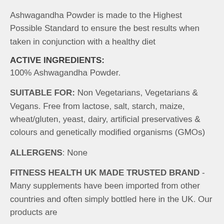Ashwagandha Powder is made to the Highest Possible Standard to ensure the best results when taken in conjunction with a healthy diet
ACTIVE INGREDIENTS:
100% Ashwagandha Powder.
SUITABLE FOR: Non Vegetarians, Vegetarians & Vegans. Free from lactose, salt, starch, maize, wheat/gluten, yeast, dairy, artificial preservatives & colours and genetically modified organisms (GMOs)
ALLERGENS: None
FITNESS HEALTH UK MADE TRUSTED BRAND - Many supplements have been imported from other countries and often simply bottled here in the UK. Our products are